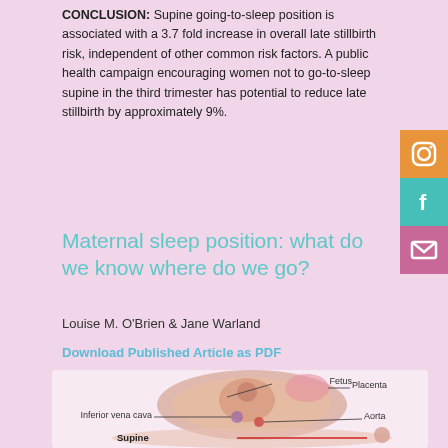CONCLUSION: Supine going-to-sleep position is associated with a 3.7 fold increase in overall late stillbirth risk, independent of other common risk factors. A public health campaign encouraging women not to go-to-sleep supine in the third trimester has potential to reduce late stillbirth by approximately 9%.
Maternal sleep position: what do we know where do we go?
Louise M. O'Brien & Jane Warland
Download Published Article as PDF
[Figure (illustration): Medical illustration showing a cross-sectional view of a pregnant abdomen with labels for Fetus, Placenta, Inferior vena cava, and Aorta. Below is a side-view illustration of a woman lying supine (on her back) with a red line indicating the spine. The label 'Supine' appears on the left.]